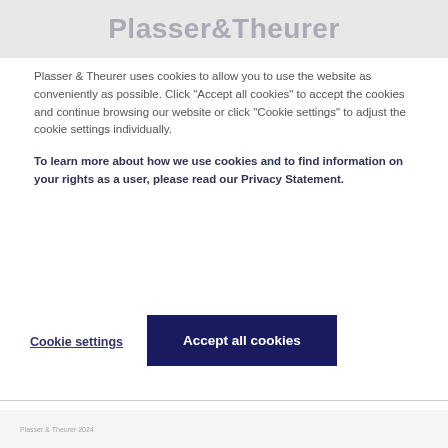[Figure (logo): Plasser & Theurer company logo in grey text on light grey background bar]
Plasser & Theurer uses cookies to allow you to use the website as conveniently as possible. Click “Accept all cookies” to accept the cookies and continue browsing our website or click “Cookie settings” to adjust the cookie settings individually.
To learn more about how we use cookies and to find information on your rights as a user, please read our Privacy Statement.
Cookie settings
Accept all cookies
Plasser & Theurer 2024